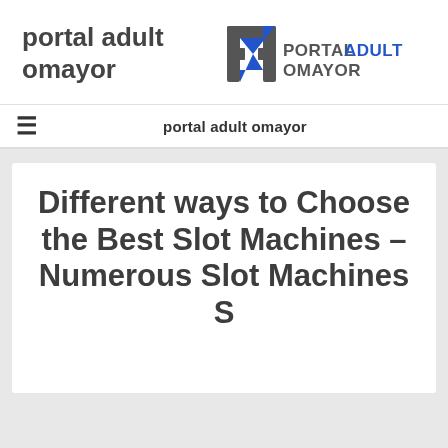portal adult omayor
[Figure (logo): Portal Adult Omayor logo with stylized H icon in blue/grey and text PORTALADULTOMAYOR]
portal adult omayor
Different ways to Choose the Best Slot Machines – Numerous Slot Machines S...